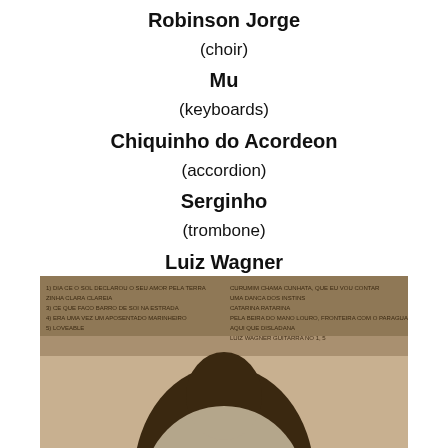Robinson Jorge
(choir)
Mu
(keyboards)
Chiquinho do Acordeon
(accordion)
Serginho
(trombone)
Luiz Wagner
special guest on 10
(guitar)
[Figure (photo): Sepia-toned album cover photo showing a man in the foreground with text listing song titles on the left and right sides]